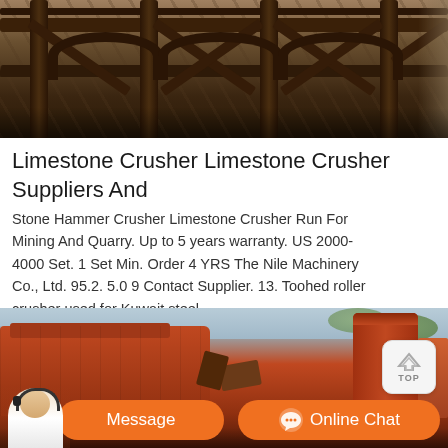[Figure (photo): Wooden structure/pavilion with beams and stone background, industrial/mining site]
Limestone Crusher Limestone Crusher Suppliers And
Stone Hammer Crusher Limestone Crusher Run For Mining And Quarry. Up to 5 years warranty. US 2000-4000 Set. 1 Set Min. Order 4 YRS The Nile Machinery Co., Ltd. 95.2. 5.0 9 Contact Supplier. 13. Toohed roller crusher used for Kuwait steel
[Figure (photo): Industrial limestone crusher machinery, orange/red colored heavy equipment outdoors]
Message
Online Chat